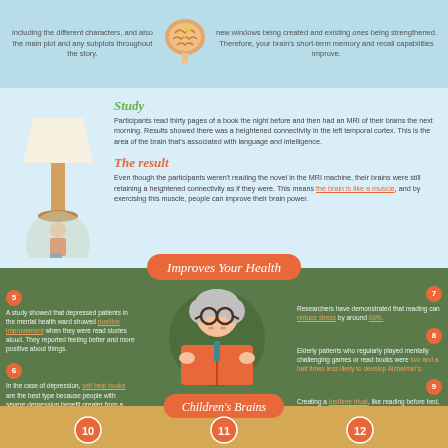including the different characters, and also the main plot and any subplots throughout the story.
new windows being created and existing ones being strengthened. Therefore, your brain’s short-term memory and recall capabilities improve.
Study: Participants read thirty pages of a book the night before and then had an MRI of their brains the next morning. Results showed there was a heightened connectivity in the left temporal cortex. This is the area of the brain that’s associated with language and intelligence.
The result: Even though the participants weren’t reading the novel in the MRI machine, their brains were still retaining a heightened connectivity as if they were. This means the brain is like a muscle, and by exercising this muscle, people can improve their brain power.
Improves Your Health
5 - A study showed that depressed patients in the mental health ward showed positive improvement when they were read stories aloud. They reported feeling better and more positive about things.
6 - In the case of depression, self help books are the best type because people with severe depression benefit greater from a low-intensity intervention. Self-help books fit into this category, so not only does reading them help patients with depression, but the topic also adds a benefit.
7 - Researchers have demonstrated that reading can reduce stress by around 68%.
8 - Elderly patients who regularly played mentally challenging games or read books were two and a half times less likely to develop Alzheimer’s.
9 - Creating a bedtime ritual, like reading before bed, signals to your body that it’s time to wind down and go to sleep. However, this only applies to real books as screens like e-readers and tablets can actually keep you awake longer and hurt your sleep.
Children's Brains
[Figure (illustration): Illustrated brain icon at the top center]
[Figure (illustration): Illustration of a person standing under a lamp, reading]
[Figure (illustration): Illustration of an elderly woman with glasses reading a large orange book]
[Figure (illustration): Three circular icons numbered 10, 11, 12 at the bottom for Children's Brains section]